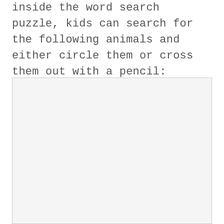inside the word search puzzle, kids can search for the following animals and either circle them or cross them out with a pencil:
[Figure (other): A large light gray rectangular box, likely a placeholder for a word search puzzle grid.]